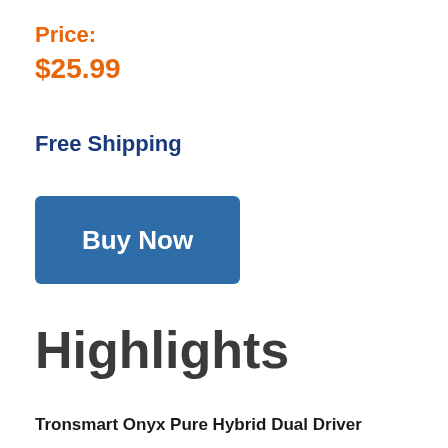Price:
$25.99
Free Shipping
[Figure (other): Blue 'Buy Now' button]
Highlights
Tronsmart Onyx Pure Hybrid Dual Driver